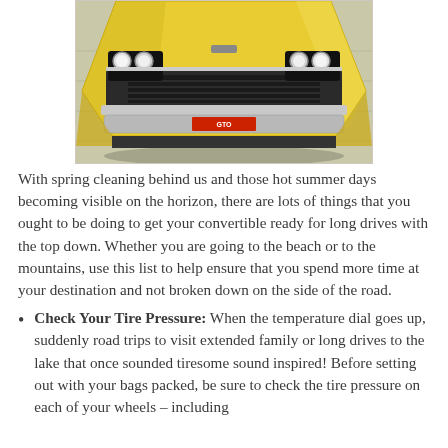[Figure (illustration): Painting/illustration of the front of a classic yellow muscle car (Pontiac GTO) viewed from slightly above, on a light wooden floor background.]
With spring cleaning behind us and those hot summer days becoming visible on the horizon, there are lots of things that you ought to be doing to get your convertible ready for long drives with the top down. Whether you are going to the beach or to the mountains, use this list to help ensure that you spend more time at your destination and not broken down on the side of the road.
Check Your Tire Pressure: When the temperature dial goes up, suddenly road trips to visit extended family or long drives to the lake that once sounded tiresome sound inspired! Before setting out with your bags packed, be sure to check the tire pressure on each of your wheels – including